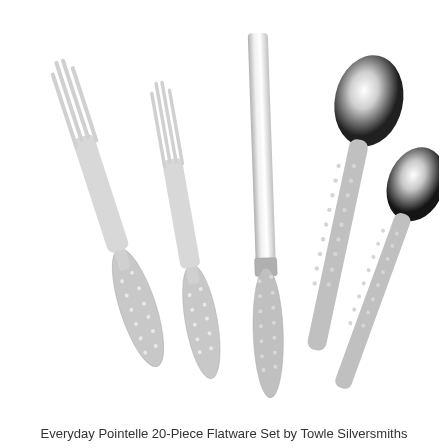[Figure (photo): A set of five stainless steel flatware pieces with dotted/pointelle handle design arranged diagonally on a white background: two forks (a dinner fork and a salad fork), one dinner knife, and two spoons (a tablespoon and a teaspoon). The handles feature a raised dot pattern.]
Everyday Pointelle 20-Piece Flatware Set by Towle Silversmiths